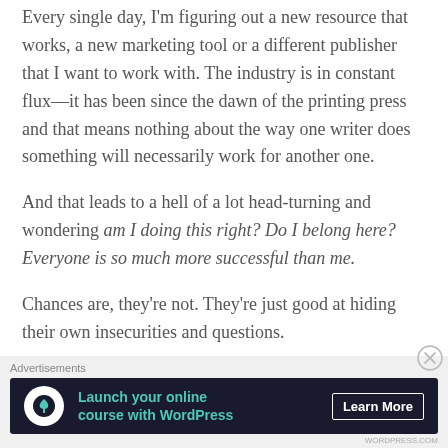Every single day, I'm figuring out a new resource that works, a new marketing tool or a different publisher that I want to work with. The industry is in constant flux—it has been since the dawn of the printing press and that means nothing about the way one writer does something will necessarily work for another one.
And that leads to a hell of a lot head-turning and wondering am I doing this right? Do I belong here? Everyone is so much more successful than me.
Chances are, they're not. They're just good at hiding their own insecurities and questions.
[Figure (infographic): Advertisement banner: dark background with tree/person icon in white circle, teal text 'Launch your online course with WordPress', white 'Learn More' button. Labeled 'Advertisements' above.]